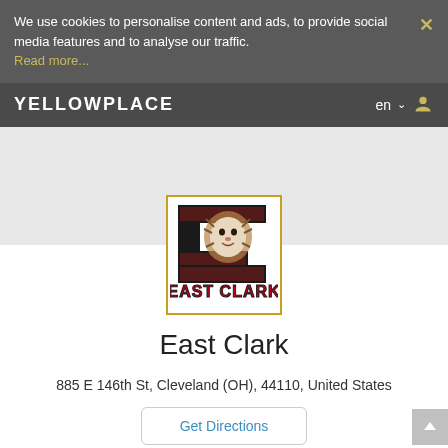We use cookies to personalise content and ads, to provide social media features and to analyse our traffic. Read more...
YELLOWPLACE  en
[Figure (logo): East Clark school logo: large black letter E with a lion illustration, text 'EAST CLARK' in red below]
East Clark
885 E 146th St, Cleveland (OH), 44110, United States
Get Directions